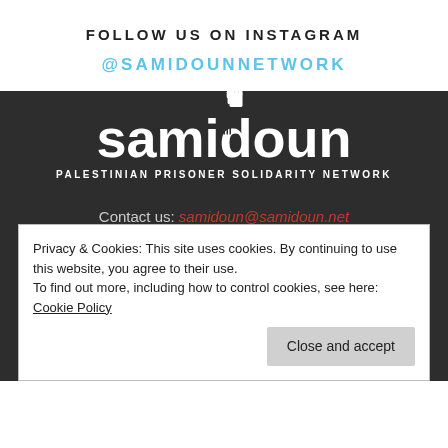FOLLOW US ON INSTAGRAM
@SAMIDOUNNETWORK
[Figure (logo): Samidoun Palestinian Prisoner Solidarity Network logo — white text on dark background with raised fist icon above the letter 'd', and vertical bars on the letter 'd']
Contact us: samidoun@samidoun.net
Privacy & Cookies: This site uses cookies. By continuing to use this website, you agree to their use.
To find out more, including how to control cookies, see here: Cookie Policy
Close and accept